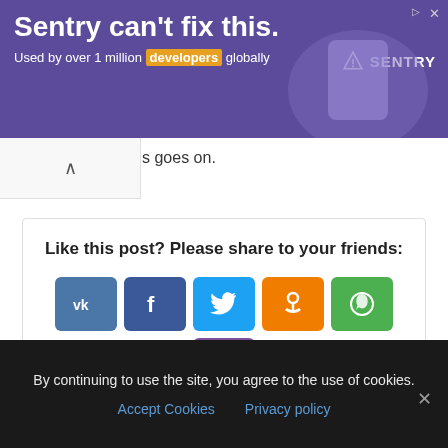[Figure (screenshot): Sentry advertisement banner — purple background with text 'Sentry can't fix this. Used by over 1 million developers globally' and Sentry logo on right with decorative figure.]
s goes on.
Like this post? Please share to your friends:
[Figure (infographic): Row of social share buttons: VK (blue), Facebook (dark blue), Twitter (light blue), Odnoklassniki (orange), WhatsApp (green), Viber (purple), Telegram (blue)]
Leave a Reply
Name *
By continuing to use the site, you agree to the use of cookies.
Accept Cookies   Privacy policy